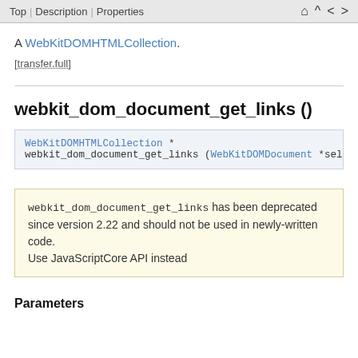Top | Description | Properties
A WebKitDOMHTMLCollection.
[transfer.full]
webkit_dom_document_get_links ()
WebKitDOMHTMLCollection *
webkit_dom_document_get_links (WebKitDOMDocument *self);
webkit_dom_document_get_links has been deprecated since version 2.22 and should not be used in newly-written code. Use JavaScriptCore API instead
Parameters